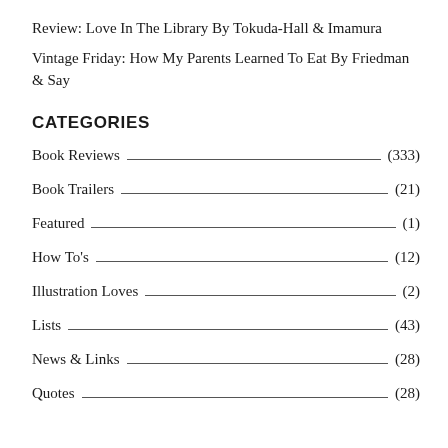Review: Love In The Library By Tokuda-Hall & Imamura
Vintage Friday: How My Parents Learned To Eat By Friedman & Say
CATEGORIES
Book Reviews (333)
Book Trailers (21)
Featured (1)
How To's (12)
Illustration Loves (2)
Lists (43)
News & Links (28)
Quotes (28)